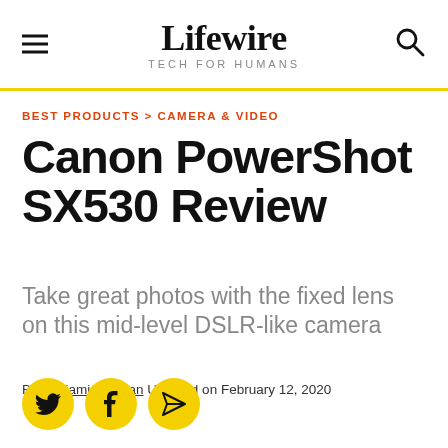Lifewire TECH FOR HUMANS
BEST PRODUCTS > CAMERA & VIDEO
Canon PowerShot SX530 Review
Take great photos with the fixed lens on this mid-level DSLR-like camera
By Benjamin Zeman Updated on February 12, 2020
[Figure (illustration): Social share buttons: Twitter, Facebook, and Email/Send icons in yellow circles]